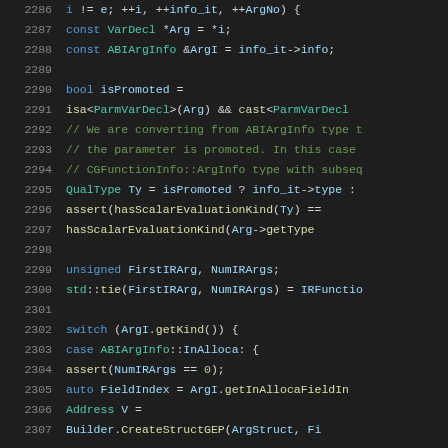[Figure (screenshot): Source code editor screenshot showing C++ code, lines 2286-2307, dark theme with syntax highlighting. Keywords in blue, types in teal, variables in light blue, comments in green, functions in yellow.]